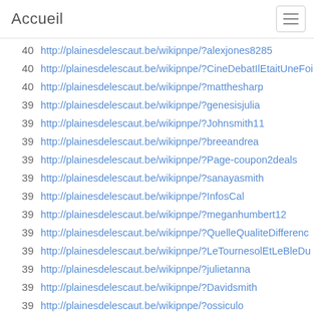Accueil
40  http://plainesdelescaut.be/wikipnpe/?alexjones8285
40  http://plainesdelescaut.be/wikipnpe/?CineDebatIlEtaitUneFoi
40  http://plainesdelescaut.be/wikipnpe/?matthesharp
39  http://plainesdelescaut.be/wikipnpe/?genesisjulia
39  http://plainesdelescaut.be/wikipnpe/?Johnsmith11
39  http://plainesdelescaut.be/wikipnpe/?breeandrea
39  http://plainesdelescaut.be/wikipnpe/?Page-coupon2deals
39  http://plainesdelescaut.be/wikipnpe/?sanayasmith
39  http://plainesdelescaut.be/wikipnpe/?InfosCal
39  http://plainesdelescaut.be/wikipnpe/?meganhumbert12
39  http://plainesdelescaut.be/wikipnpe/?QuelleQualiteDifferenc
39  http://plainesdelescaut.be/wikipnpe/?LeTournesolEtLeBleDu
39  http://plainesdelescaut.be/wikipnpe/?julietanna
39  http://plainesdelescaut.be/wikipnpe/?Davidsmith
39  http://plainesdelescaut.be/wikipnpe/?ossiculo
39  http://plainesdelescaut.be/wikipnpe?BazaR&vue=formulaire
39  http://plainesdelescaut.be/wikipnpe/?technologywriteforusw
39  http://plainesdelescaut.be/wikipnpe/?sundarraj
39  http://plainesdelescaut.be/wikipnpe/wakka.php?wiki=ParcNa
39  http://plainesdelescaut.be/wikipnpe/?carolinegracy